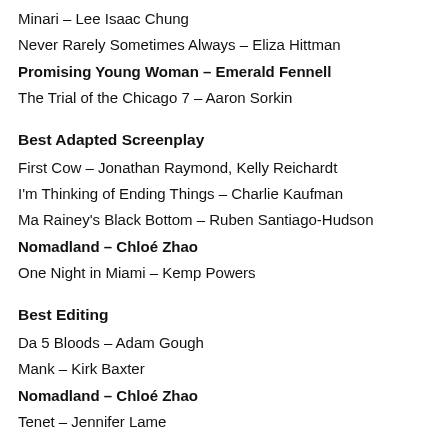Minari – Lee Isaac Chung
Never Rarely Sometimes Always – Eliza Hittman
Promising Young Woman – Emerald Fennell
The Trial of the Chicago 7 – Aaron Sorkin
Best Adapted Screenplay
First Cow – Jonathan Raymond, Kelly Reichardt
I'm Thinking of Ending Things – Charlie Kaufman
Ma Rainey's Black Bottom – Ruben Santiago-Hudson
Nomadland – Chloé Zhao
One Night in Miami – Kemp Powers
Best Editing
Da 5 Bloods – Adam Gough
Mank – Kirk Baxter
Nomadland – Chloé Zhao
Tenet – Jennifer Lame